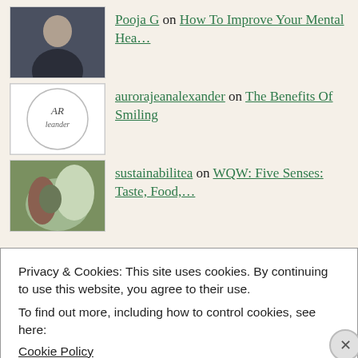Pooja G on How To Improve Your Mental Hea...
aurorajeanalexander on The Benefits Of Smiling
sustainabilitea on WQW: Five Senses: Taste, Food,...
Follow me on Twitter
Privacy & Cookies: This site uses cookies. By continuing to use this website, you agree to their use.
To find out more, including how to control cookies, see here: Cookie Policy
Close and accept